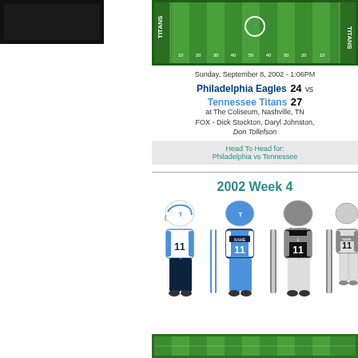[Figure (illustration): Dark/black textured football field image top-left]
[Figure (illustration): Tennessee Titans football field top view with end zones and yard markers]
Sunday, September 8, 2002 - 1:06PM
Philadelphia Eagles  24  vs
Tennessee Titans  27
at The Coliseum, Nashville, TN
FOX - Dick Stockton, Daryl Johnston, Don Tollefson
Head To Head for: Philadelphia vs Tennessee
2002 Week 4
[Figure (illustration): Tennessee Titans and Oakland Raiders football uniforms - home and away sets for 2002 Week 4]
[Figure (illustration): Football field bottom view]